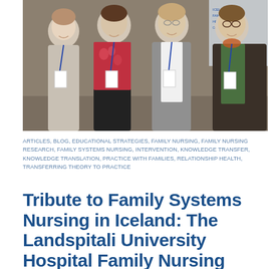[Figure (photo): Four women standing together smiling at what appears to be a conference, all wearing conference badge lanyards. A banner with text is partially visible in the background on the right.]
ARTICLES, BLOG, EDUCATIONAL STRATEGIES, FAMILY NURSING, FAMILY NURSING RESEARCH, FAMILY SYSTEMS NURSING, INTERVENTION, KNOWLEDGE TRANSFER, KNOWLEDGE TRANSLATION, PRACTICE WITH FAMILIES, RELATIONSHIP HEALTH, TRANSFERRING THEORY TO PRACTICE
Tribute to Family Systems Nursing in Iceland: The Landspitali University Hospital Family Nursing